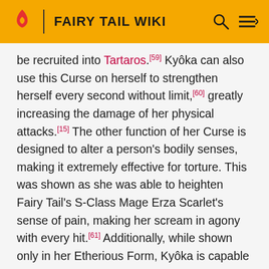FAIRY TAIL WIKI
be recruited into Tartaros.[59] Kyôka can also use this Curse on herself to strengthen herself every second without limit,[60] greatly increasing the damage of her physical attacks.[15] The other function of her Curse is designed to alter a person's bodily senses, making it extremely effective for torture. This was shown as she was able to heighten Fairy Tail's S-Class Mage Erza Scarlet's sense of pain, making her scream in agony with every hit.[61] Additionally, while shown only in her Etherious Form, Kyôka is capable of indiscriminately spreading her Curse to everyone around her within a considerable range through torrents of energy that were powerful enough to destroy even stone pillars. Once affected, the target feels intense pain from something as